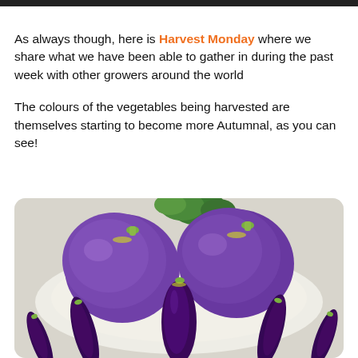As always though, here is Harvest Monday where we share what we have been able to gather in during the past week with other growers around the world

The colours of the vegetables being harvested are themselves starting to become more Autumnal, as you can see!
[Figure (photo): Photo of harvested purple/violet round eggplants (resembling small cabbages) and long dark purple eggplants arranged on a white plate, with green leafy tops visible. The vegetables have deep purple and violet hues with yellow-green stems.]